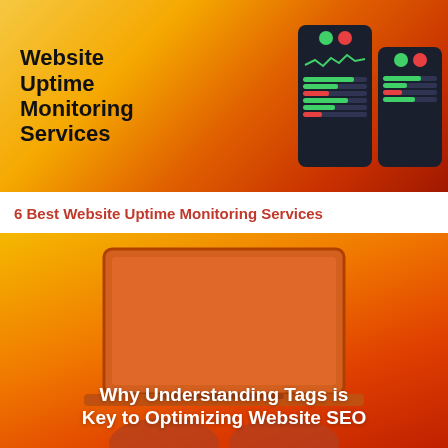[Figure (screenshot): Promotional banner image for '6 Best Website Uptime Monitoring Services' showing bold text on yellow-orange gradient background with dark mobile app dashboard mockups on the right displaying green and red indicator dots and bar graphs.]
6 Best Website Uptime Monitoring Services
[Figure (photo): Promotional banner image on orange-red gradient background showing a laptop from above with a person's hands typing, and white bold text overlay reading 'Why Understanding Tags is Key to Optimizing Website SEO'.]